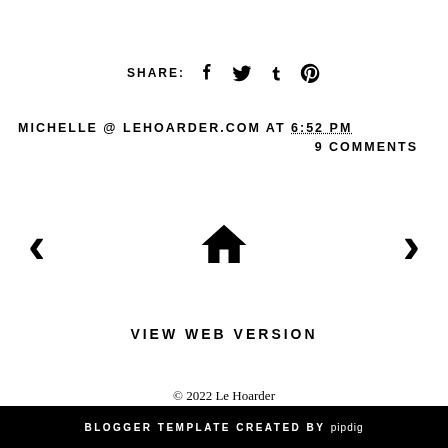SHARE: [facebook] [twitter] [tumblr] [pinterest]
MICHELLE @ LEHOARDER.COM AT 6:52 PM     9 COMMENTS
[Figure (other): Navigation row with left arrow, home icon, and right arrow]
VIEW WEB VERSION
© 2022 Le Hoarder
BLOGGER TEMPLATE CREATED BY pipdig